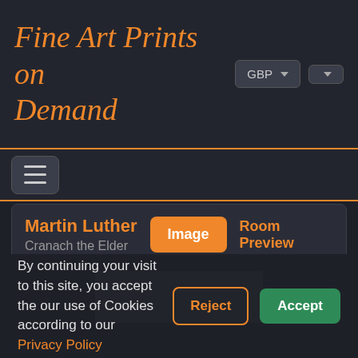Fine Art Prints on Demand
Martin Luther
Cranach the Elder
Image | Room Preview
By continuing your visit to this site, you accept the our use of Cookies according to our Privacy Policy
Reject
Accept